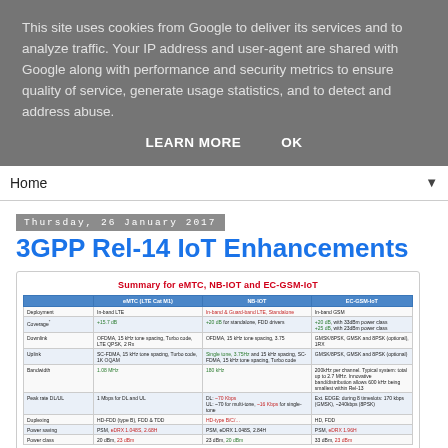This site uses cookies from Google to deliver its services and to analyze traffic. Your IP address and user-agent are shared with Google along with performance and security metrics to ensure quality of service, generate usage statistics, and to detect and address abuse.
LEARN MORE   OK
Home ▼
Thursday, 26 January 2017
3GPP Rel-14 IoT Enhancements
[Figure (table-as-image): Summary table for eMTC, NB-IOT and EC-GSM-IoT comparison showing Deployment, Coverage, Downlink, Uplink, Bandwidth, Peak rate DL/UL, Duplexing, Power saving, Power class rows with colored text highlights in green, red and blue.]